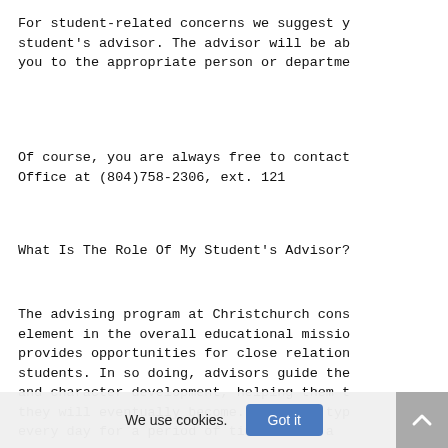For student-related concerns we suggest y student's advisor. The advisor will be ab you to the appropriate person or departme
Of course, you are always free to contact Office at (804)758-2306, ext. 121
What Is The Role Of My Student's Advisor?
The advising program at Christchurch cons element in the overall educational missio provides opportunities for close relation students. In so doing, advisors guide the and character development, helping them t they will eventually become. Students typ every day for a period of time. Twice a